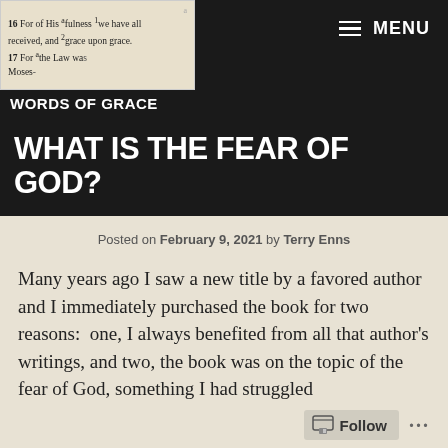[Figure (photo): Close-up photo of Bible text showing John 1:16-17: 'For of His afulness we have all received, and grace upon grace. For the Law was...']
WORDS OF GRACE
WHAT IS THE FEAR OF GOD?
Posted on February 9, 2021 by Terry Enns
Many years ago I saw a new title by a favored author and I immediately purchased the book for two reasons: one, I always benefited from all that author's writings, and two, the book was on the topic of the fear of God, something I had struggled to...